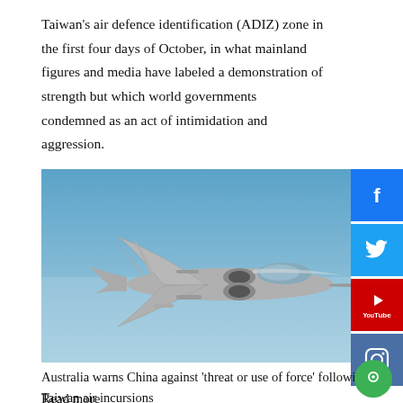Taiwan's air defence identification (ADIZ) zone in the first four days of October, in what mainland figures and media have labeled a demonstration of strength but which world governments condemned as an act of intimidation and aggression.
[Figure (photo): A Chinese military fighter jet (Sukhoi Su-30 variant) in flight against a blue sky background]
Australia warns China against 'threat or use of force' following Taiwan air incursions
Read more
Writing for Foreign Affairs magazine, Tsai stressed Taiwan's desire for peace